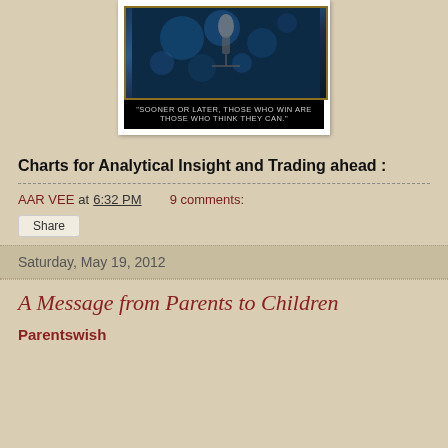[Figure (photo): Motivational image with dark blue bokeh background and a quote: "Sooner or later, those who win are those who think they can."]
Charts for Analytical Insight and Trading ahead :
AAR VEE at 6:32 PM    9 comments:
Share
Saturday, May 19, 2012
A Message from Parents to Children
Parentswish